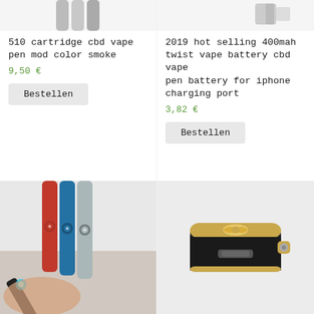[Figure (photo): Top portion of vape pen product image (cropped), left column]
[Figure (photo): Top portion of vape battery product image (cropped), right column]
510 cartridge cbd vape pen mod color smoke
9,50 €
Bestellen
2019 hot selling 400mah twist vape battery cbd vape pen battery for iphone charging port
3,82 €
Bestellen
[Figure (photo): Photo of multiple vape pen batteries in red, blue, and silver colors held in hand with glowing tip]
[Figure (photo): Photo of a black leather car key fob shaped vape device with gold accents and wing emblem]